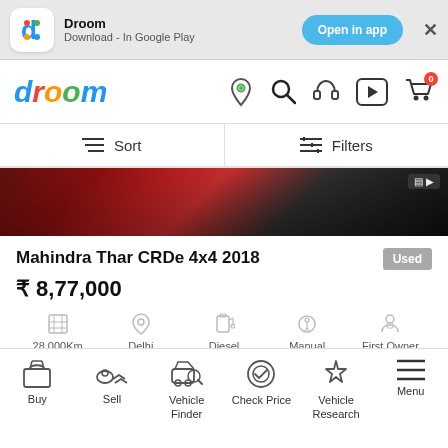[Figure (screenshot): App install banner for Droom app with Google Play download option and 'Open in app' button]
[Figure (logo): Droom website logo in colorful italic letters]
[Figure (screenshot): Navigation icons: location pin, search, headset, play button, cart with 0 badge]
[Figure (screenshot): Sort and Filters bar with hamburger sort icon and sliders filter icon]
[Figure (photo): Partial top view of a red/dark Mahindra Thar vehicle]
Mahindra Thar CRDe 4x4 2018
Used
₹ 8,77,000
28,000Km
Delhi
Diesel
Manual
First Owner
Fulfilled by Seller
[Figure (screenshot): Bottom navigation bar with Buy, Sell, Vehicle Finder, Check Price, Vehicle Research, Menu icons]